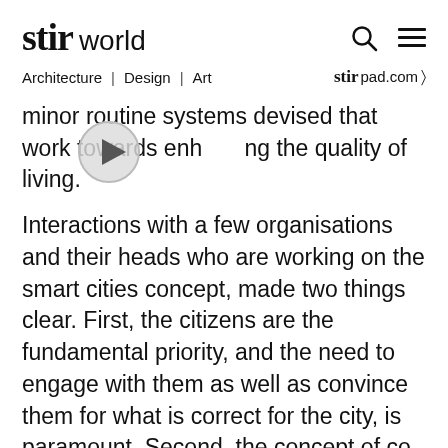stir world
Architecture | Design | Art  stir pad.com
minor routine systems devised that work towards enhancing the quality of living.
Interactions with a few organisations and their heads who are working on the smart cities concept, made two things clear. First, the citizens are the fundamental priority, and the need to engage with them as well as convince them for what is correct for the city, is paramount. Second, the concept of co-creation, open innovation, open data (making data from experiments, research,